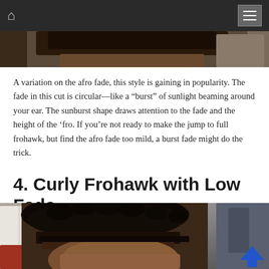Navigation bar with home icon and menu icon
[Figure (photo): Partial view of the top of a person's head showing an afro fade hairstyle, cropped at the top of the page]
A variation on the afro fade, this style is gaining in popularity. The fade in this cut is circular—like a “burst” of sunlight beaming around your ear. The sunburst shape draws attention to the fade and the height of the ‘fro. If you’re not ready to make the jump to full frohawk, but find the afro fade too mild, a burst fade might do the trick.
4. Curly Frohawk with Low Fade
[Figure (photo): Side/back view of a person with a curly frohawk with low fade hairstyle. The top shows tight curly hair and the sides are faded close to the skin. A barber's arm and people in the background are visible.]